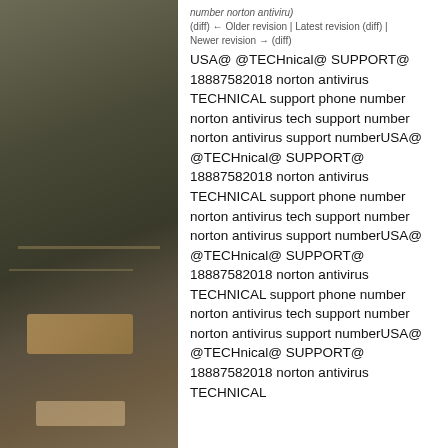[Figure (photo): Dark indoor photograph, possibly a room or theater with chairs/furniture visible in low light]
number norton antiviru)
(diff) ← Older revision | Latest revision (diff) | Newer revision → (diff)
USA@ @TECHnical@ SUPPORT@ 18887582018 norton antivirus TECHNICAL support phone number norton antivirus tech support number norton antivirus support numberUSA@ @TECHnical@ SUPPORT@ 18887582018 norton antivirus TECHNICAL support phone number norton antivirus tech support number norton antivirus support numberUSA@ @TECHnical@ SUPPORT@ 18887582018 norton antivirus TECHNICAL support phone number norton antivirus tech support number norton antivirus support numberUSA@ @TECHnical@ SUPPORT@ 18887582018 norton antivirus TECHNICAL